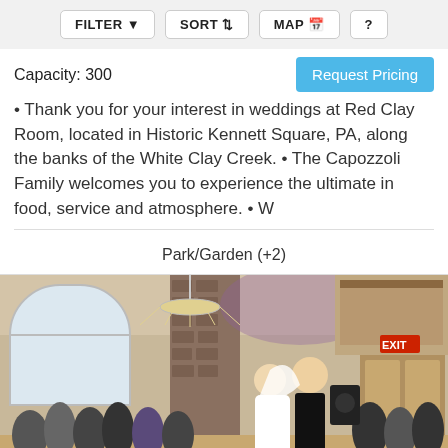FILTER  SORT  MAP  ?
Capacity: 300
Request Pricing
• Thank you for your interest in weddings at Red Clay Room, located in Historic Kennett Square, PA, along the banks of the White Clay Creek. • The Capozzoli Family welcomes you to experience the ultimate in food, service and atmosphere. • W
Park/Garden (+2)
[Figure (photo): Wedding reception photo showing a couple dancing their first dance in an elegant ballroom venue with crystal chandeliers, arched windows, and guests watching and applauding around them.]